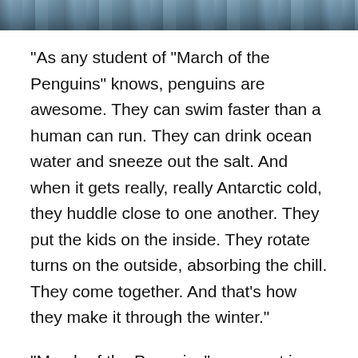[Figure (photo): Photograph of penguins, partially cropped at the top of the page, showing a group of penguins in a cold environment.]
“As any student of “March of the Penguins” knows, penguins are awesome. They can swim faster than a human can run. They can drink ocean water and sneeze out the salt. And when it gets really, really Antarctic cold, they huddle close to one another. They put the kids on the inside. They rotate turns on the outside, absorbing the chill. They come together. And that’s how they make it through the winter.”
“March of the Penguins” came out in 2005, bringing us up close and personal for the first time to the dramatic lives of Antarctic penguins, nesting and raising their young in the harshest environment on Earth. A decade later, a film like that would never be made without acknowledging that penguins are among the many iconic species now being